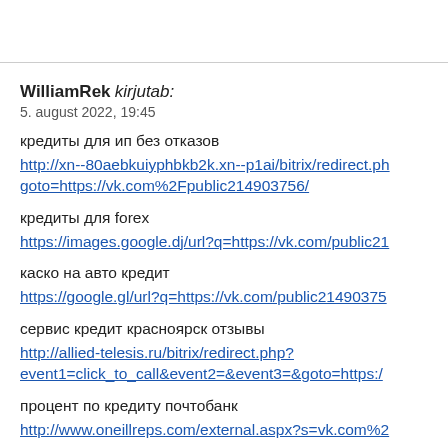WilliamRek kirjutab:
5. august 2022, 19:45
кредиты для ип без отказов
http://xn--80aebkuiyphbkb2k.xn--p1ai/bitrix/redirect.php?goto=https://vk.com%2Fpublic214903756/
кредиты для forex
https://images.google.dj/url?q=https://vk.com/public21...
каско на авто кредит
https://google.gl/url?q=https://vk.com/public2149037...
сервис кредит красноярск отзывы
http://allied-telesis.ru/bitrix/redirect.php?event1=click_to_call&event2=&event3=&goto=https:/...
процент по кредиту почтобанк
http://www.oneillreps.com/external.aspx?s=vk.com%2...
офис хоум кредит алтуфьево
https://danslesgolfs.com/Culture/SetCulture?culture=e...